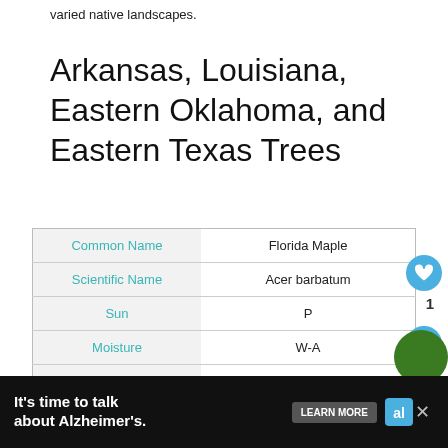varied native landscapes.
Arkansas, Louisiana, Eastern Oklahoma, and Eastern Texas Trees
| Common Name | Florida Maple |
| --- | --- |
| Scientific Name | Acer barbatum |
| Sun | P |
| Moisture | W-A |
| Height | 20-25' |
It's time to talk about Alzheimer's. LEARN MORE